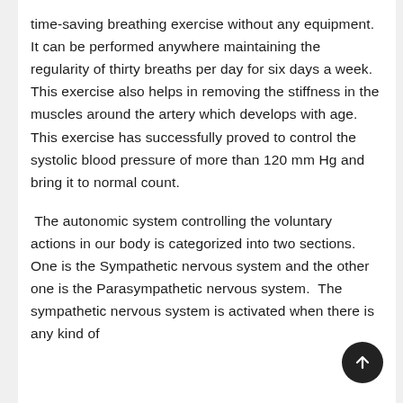time-saving breathing exercise without any equipment. It can be performed anywhere maintaining the regularity of thirty breaths per day for six days a week. This exercise also helps in removing the stiffness in the muscles around the artery which develops with age. This exercise has successfully proved to control the systolic blood pressure of more than 120 mm Hg and bring it to normal count.
The autonomic system controlling the voluntary actions in our body is categorized into two sections. One is the Sympathetic nervous system and the other one is the Parasympathetic nervous system. The sympathetic nervous system is activated when there is any kind of